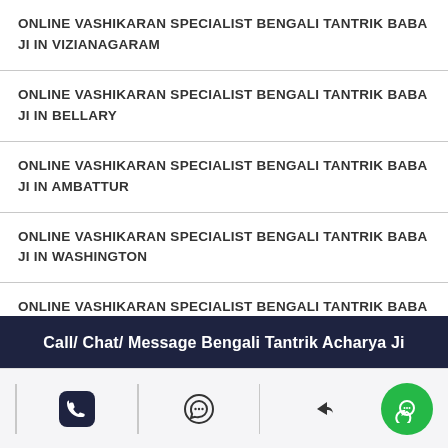ONLINE VASHIKARAN SPECIALIST BENGALI TANTRIK BABA JI IN VIZIANAGARAM
ONLINE VASHIKARAN SPECIALIST BENGALI TANTRIK BABA JI IN BELLARY
ONLINE VASHIKARAN SPECIALIST BENGALI TANTRIK BABA JI IN AMBATTUR
ONLINE VASHIKARAN SPECIALIST BENGALI TANTRIK BABA JI IN WASHINGTON
ONLINE VASHIKARAN SPECIALIST BENGALI TANTRIK BABA JI IN CHICAGO
Call/ Chat/ Message Bengali Tantrik Acharya Ji
[Figure (infographic): Icon bar with phone, WhatsApp/message, share, and chat icons on a light background]